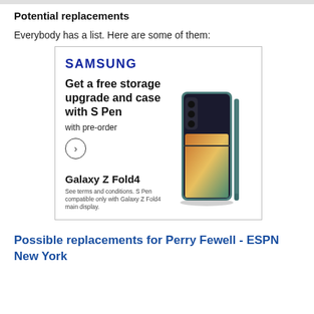Potential replacements
Everybody has a list. Here are some of them:
[Figure (screenshot): Samsung advertisement for Galaxy Z Fold4 showing offer for free storage upgrade and case with S Pen with pre-order. Features Samsung logo, headline, circle arrow button, product name, disclaimer text, and image of Galaxy Z Fold4 phone with S Pen.]
Possible replacements for Perry Fewell - ESPN New York